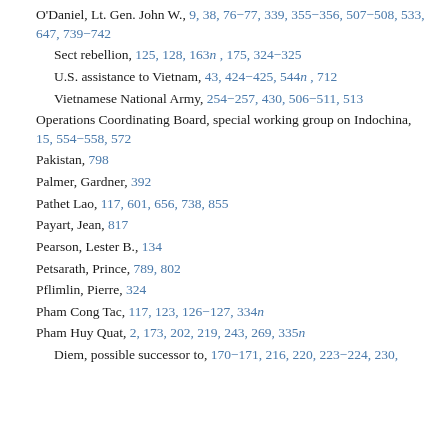O'Daniel, Lt. Gen. John W., 9, 38, 76–77, 339, 355–356, 507–508, 533, 647, 739–742
Sect rebellion, 125, 128, 163n, 175, 324–325
U.S. assistance to Vietnam, 43, 424–425, 544n, 712
Vietnamese National Army, 254–257, 430, 506–511, 513
Operations Coordinating Board, special working group on Indochina, 15, 554–558, 572
Pakistan, 798
Palmer, Gardner, 392
Pathet Lao, 117, 601, 656, 738, 855
Payart, Jean, 817
Pearson, Lester B., 134
Petsarath, Prince, 789, 802
Pflimlin, Pierre, 324
Pham Cong Tac, 117, 123, 126–127, 334n
Pham Huy Quat, 2, 173, 202, 219, 243, 269, 335n
Diem, possible successor to, 170–171, 216, 220, 223–224, 230,